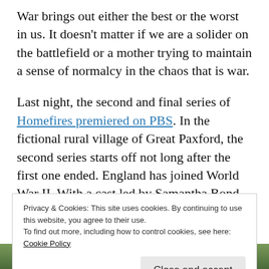War brings out either the best or the worst in us. It doesn't matter if we are a solider on the battlefield or a mother trying to maintain a sense of normalcy in the chaos that is war.
Last night, the second and final series of Homefires premiered on PBS. In the fictional rural village of Great Paxford, the second series starts off not long after the first one ended. England has joined World War II. With a cast led by Samantha Bond and Francesca Annis,
Privacy & Cookies: This site uses cookies. By continuing to use this website, you agree to their use.
To find out more, including how to control cookies, see here: Cookie Policy
[Figure (photo): Partial photo strip at bottom of page showing green/outdoor scene]